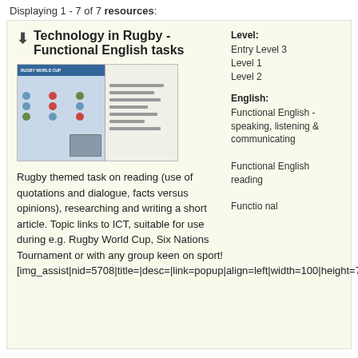Displaying 1 - 7 of 7 resources:
Technology in Rugby - Functional English tasks
[Figure (screenshot): Thumbnail image showing two pages of a worksheet: left page has a blue header, grid of circle icons, and a small photo; right page has lined text content.]
Rugby themed task on reading (use of quotations and dialogue, facts versus opinions), researching and writing a short article. Topic links to ICT, suitable for use during e.g. Rugby World Cup, Six Nations Tournament or with any group keen on sport!
[img_assist|nid=5708|title=|desc=|link=popup|align=left|width=100|height=71]
Level:
Entry Level 3
Level 1
Level 2
English:
Functional English - speaking, listening & communicating
Functional English reading
Functional nal